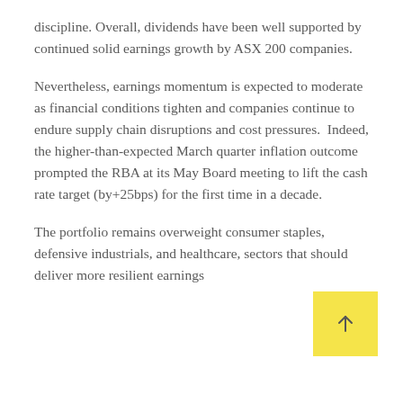discipline. Overall, dividends have been well supported by continued solid earnings growth by ASX 200 companies.
Nevertheless, earnings momentum is expected to moderate as financial conditions tighten and companies continue to endure supply chain disruptions and cost pressures. Indeed, the higher-than-expected March quarter inflation outcome prompted the RBA at its May Board meeting to lift the cash rate target (by+25bps) for the first time in a decade.
The portfolio remains overweight consumer staples, defensive industrials, and healthcare, sectors that should deliver more resilient earnings